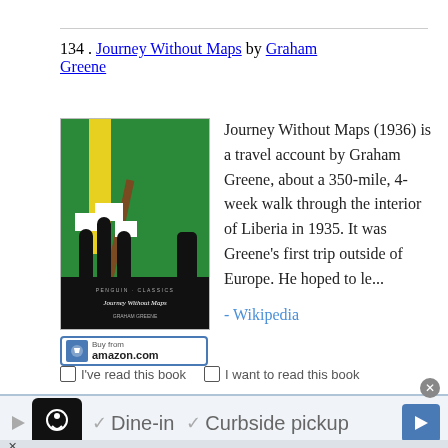134 . Journey Without Maps by Graham Greene
[Figure (illustration): Book cover of Journey Without Maps by Graham Greene (Penguin Classics edition) showing stylized figures carrying signs against a green background with yellow stripe]
Journey Without Maps (1936) is a travel account by Graham Greene, about a 350-mile, 4-week walk through the interior of Liberia in 1935. It was Greene's first trip outside of Europe. He hoped to le...
- Wikipedia
I've read this book
I want to read this book
[Figure (infographic): Advertisement banner: Dine-in and Curbside pickup options with restaurant logo]